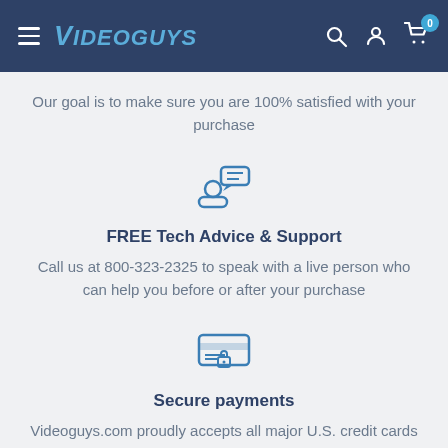Videoguys
Our goal is to make sure you are 100% satisfied with your purchase
[Figure (illustration): Icon of a person with a speech bubble representing tech support]
FREE Tech Advice & Support
Call us at 800-323-2325 to speak with a live person who can help you before or after your purchase
[Figure (illustration): Icon of a credit card with a lock representing secure payments]
Secure payments
Videoguys.com proudly accepts all major U.S. credit cards and will protect your safety & security